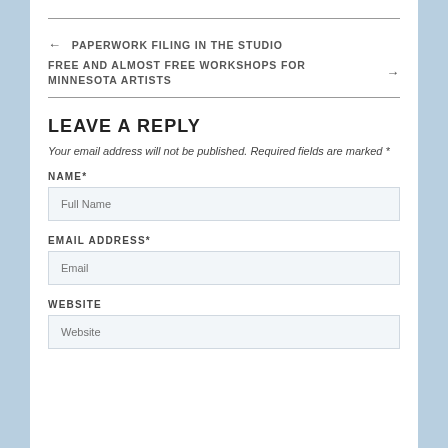← PAPERWORK FILING IN THE STUDIO
FREE AND ALMOST FREE WORKSHOPS FOR MINNESOTA ARTISTS →
LEAVE A REPLY
Your email address will not be published. Required fields are marked *
NAME*
Full Name
EMAIL ADDRESS*
Email
WEBSITE
Website